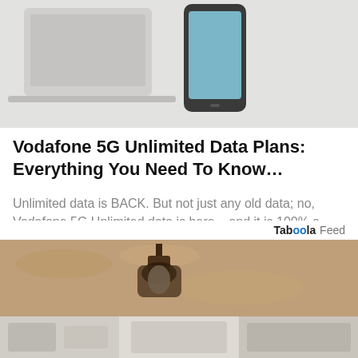[Figure (photo): Top portion of article image showing a laptop and smartphone on a light surface]
Vodafone 5G Unlimited Data Plans: Everything You Need To Know…
Unlimited data is BACK. But not just any old data; no, Vodafone 5G Unlimited data is here – and it is 100% a game-changer
Taboola Feed
[Figure (photo): Bottom image showing an outdoor wall lamp mounted on a textured stone wall]
[Figure (photo): Three smaller thumbnail images at the bottom of the page]